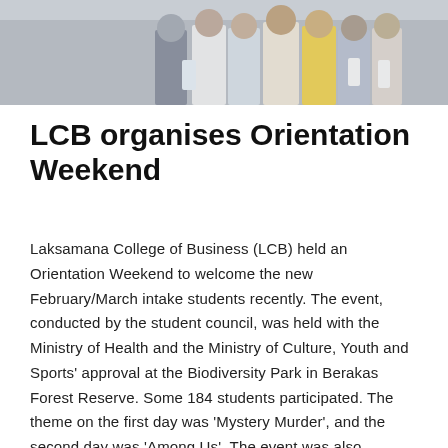[Figure (photo): Group photo of students standing outdoors, wearing white t-shirts and carrying bags, cropped to show torsos and hands.]
LCB organises Orientation Weekend
Laksamana College of Business (LCB) held an Orientation Weekend to welcome the new February/March intake students recently. The event, conducted by the student council, was held with the Ministry of Health and the Ministry of Culture, Youth and Sports' approval at the Biodiversity Park in Berakas Forest Reserve. Some 184 students participated. The theme on the first day was 'Mystery Murder', and the second day was 'Among Us'. The event was also supported by TLT Enterprise, Su